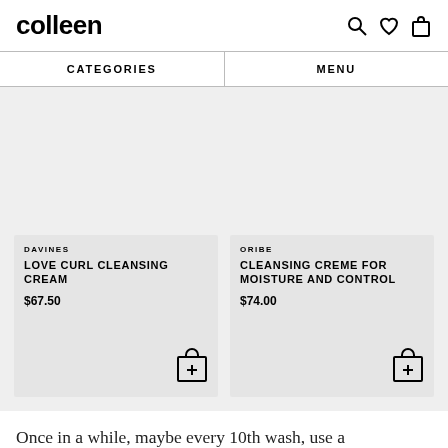colleen
CATEGORIES | MENU
DAVINES
LOVE CURL CLEANSING CREAM
$67.50
ORIBE
CLEANSING CREME FOR MOISTURE AND CONTROL
$74.00
Once in a while, maybe every 10th wash, use a